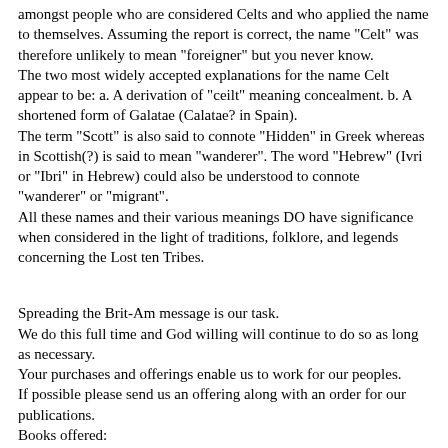amongst people who are considered Celts and who applied the name to themselves. Assuming the report is correct, the name "Celt" was therefore unlikely to mean "foreigner" but you never know.
The two most widely accepted explanations for the name Celt appear to be: a. A derivation of "ceilt" meaning concealment. b. A shortened form of Galatae (Calatae? in Spain).
The term "Scott" is also said to connote "Hidden" in Greek whereas in Scottish(?) is said to mean "wanderer". The word "Hebrew" (Ivri or "Ibri" in Hebrew) could also be understood to connote "wanderer" or "migrant".
All these names and their various meanings DO have significance when considered in the light of traditions, folklore, and legends concerning the Lost ten Tribes.
Spreading the Brit-Am message is our task.
We do this full time and God willing will continue to do so as long as necessary.
Your purchases and offerings enable us to work for our peoples.
If possible please send us an offering along with an order for our publications.
Books offered:
All prices include postage by  air-mail.